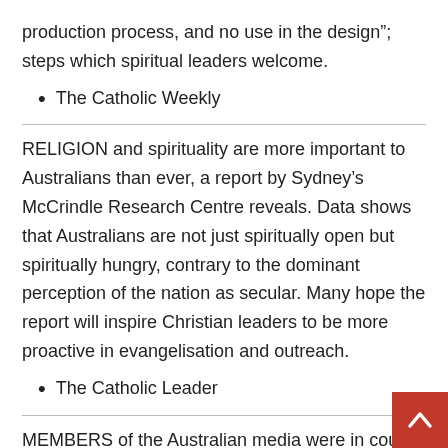production process, and no use in the design"; steps which spiritual leaders welcome.
The Catholic Weekly
RELIGION and spirituality are more important to Australians than ever, a report by Sydney's McCrindle Research Centre reveals. Data shows that Australians are not just spiritually open but spiritually hungry, contrary to the dominant perception of the nation as secular. Many hope the report will inspire Christian leaders to be more proactive in evangelisation and outreach.
The Catholic Leader
MEMBERS of the Australian media were in court this week on charges of breaching a gag order issued during